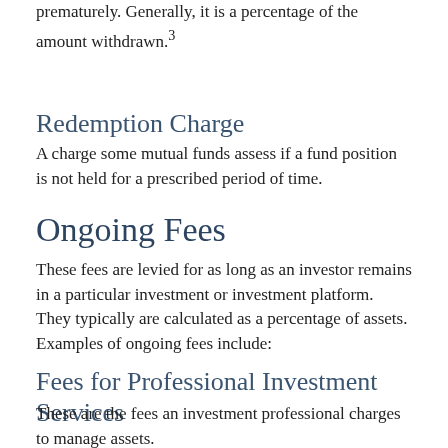This fee is assessed when an investor sells an annuity prematurely. Generally, it is a percentage of the amount withdrawn.³
Redemption Charge
A charge some mutual funds assess if a fund position is not held for a prescribed period of time.
Ongoing Fees
These fees are levied for as long as an investor remains in a particular investment or investment platform. They typically are calculated as a percentage of assets. Examples of ongoing fees include:
Fees for Professional Investment Services
These are the fees an investment professional charges to manage assets.
Annual Operating Expenses
Mutual funds and exchange traded funds (ETFs) have